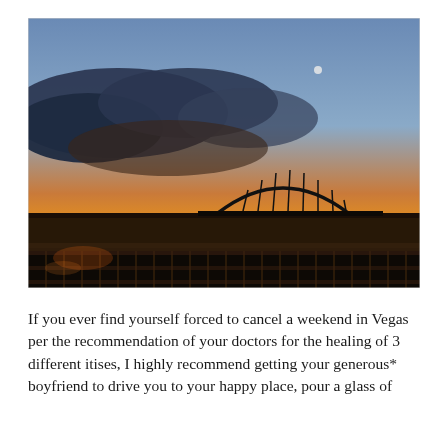[Figure (photo): A sunset photograph showing a dramatic sky with dark clouds and warm orange and yellow hues near the horizon. A silhouetted arch bridge spans a river in the middle distance, with a railing in the foreground and a faint moon visible in the upper right of the sky.]
If you ever find yourself forced to cancel a weekend in Vegas per the recommendation of your doctors for the healing of 3 different itises, I highly recommend getting your generous* boyfriend to drive you to your happy place, pour a glass of